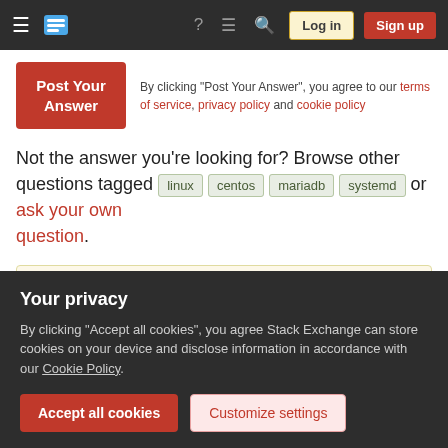Stack Exchange navigation bar with hamburger menu, logo, icons, Log in and Sign up buttons
By clicking "Post Your Answer", you agree to our terms of service, privacy policy and cookie policy
Not the answer you're looking for? Browse other questions tagged linux centos mariadb systemd or ask your own question.
The Overflow Blog
Stack Overflow is launching a Student Ambassador
Please welcome Valued Associate #1301 - Emerson
Your privacy
By clicking "Accept all cookies", you agree Stack Exchange can store cookies on your device and disclose information in accordance with our Cookie Policy.